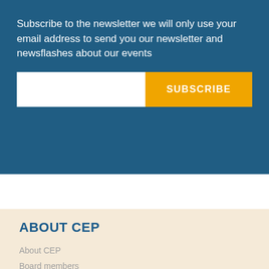Subscribe to the newsletter we will only use your email address to send you our newsletter and newsflashes about our events
[Figure (screenshot): Newsletter subscription form with email input field and orange SUBSCRIBE button on a blue background]
ABOUT CEP
About CEP
Board members
Staff members
Member organisations
Honorary members
Become a CEP member